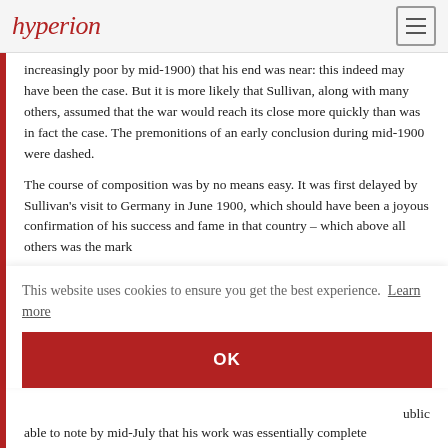hyperion
increasingly poor by mid-1900) that his end was near: this indeed may have been the case. But it is more likely that Sullivan, along with many others, assumed that the war would reach its close more quickly than was in fact the case. The premonitions of an early conclusion during mid-1900 were dashed.
The course of composition was by no means easy. It was first delayed by Sullivan's visit to Germany in June 1900, which should have been a joyous confirmation of his success and fame in that country – which above all others was the mark the ...ublic r. re of his sking vays was
This website uses cookies to ensure you get the best experience. Learn more
OK
able to note by mid-July that his work was essentially complete